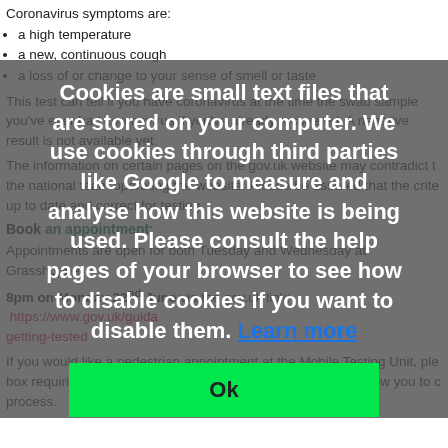Coronavirus symptoms are:
a high temperature
a new, continuous cough
a loss of or change to your sense of smell or taste
This test can tell if you have coronavirus at the time the swab sample is taken, it cannot tell if you've ever had coronavirus if you've already recovered. A negative result is not a guarantee you are not infected, as the test is not 100% accurate. Information on how to interpret the test result is not available yet.
The information on certain pages on the gov.uk website may contradict the information provided by the national team operating the website. Please be assured that the criteria have been updated and are up to date and correct for testing.
Book an appointment:
Appointments are open for both Tuesday and Wednesday at Grasshopper
8pm on Monday 22nd June via the gov.uk link: https://www.gov.uk/guid.../getting-tested
If you would like a pedestrian appointment at the Mobile Testing Unit, ple... box requiring your vehicle registration number. This should allow you to c... process.
[Figure (screenshot): Cookie consent overlay popup with gray semi-transparent background, white bold text reading 'Cookies are small text files that are stored on your computer. We use cookies through third parties like Google to measure and analyse how this website is being used. Please consult the help pages of your browser to see how to disable cookies if you want to disable them. Learn more', and a green Ok button.]